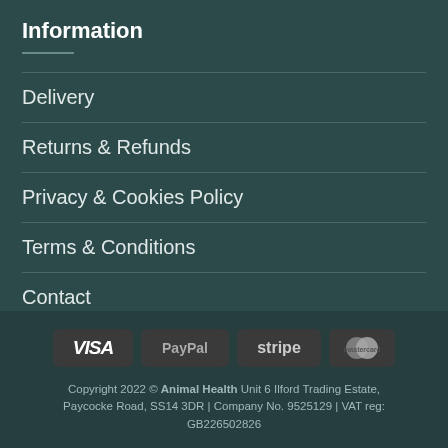Information
Delivery
Returns & Refunds
Privacy & Cookies Policy
Terms & Conditions
Contact
[Figure (other): Payment method icons: VISA, PayPal, stripe, MasterCard]
Copyright 2022 © Animal Health Unit 6 Ilford Trading Estate, Paycocke Road, SS14 3DR | Company No. 9525129 | VAT reg: GB226502826